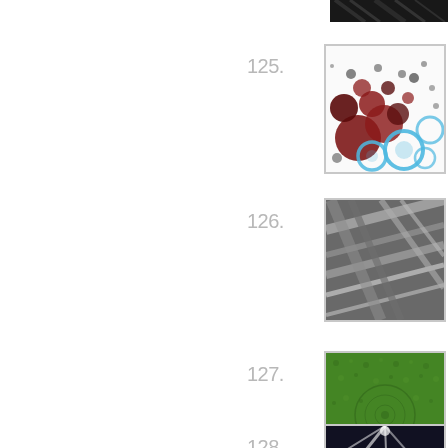[Figure (photo): Partial dark image at top, cut off — appears to be dark fibrous or metallic material]
125.
[Figure (photo): Scientific illustration showing red/dark circular blobs and blue circles on white background — bubble or particle distribution pattern]
T
M
A
M
126.
[Figure (photo): Photo of dark elongated fibrous or wire-like materials with silvery sheen — possibly carbon fiber or metal wires]
T
W
A
Ja
127.
[Figure (photo): Photo of green grass or turf surface with subtle circular pattern visible]
T
S
A
R
128.
[Figure (photo): Photo showing light beams or spray on dark background — possibly liquid or light diffraction through transparent material]
T
M
A
C